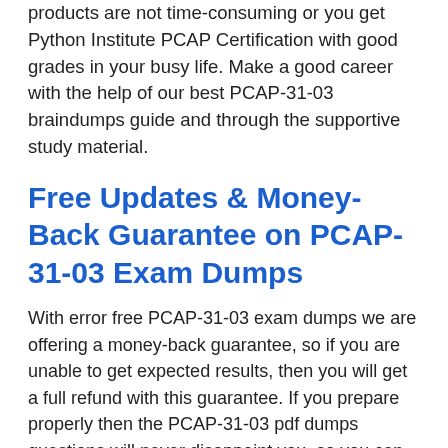products are not time-consuming or you get Python Institute PCAP Certification with good grades in your busy life. Make a good career with the help of our best PCAP-31-03 braindumps guide and through the supportive study material.
Free Updates & Money-Back Guarantee on PCAP-31-03 Exam Dumps
With error free PCAP-31-03 exam dumps we are offering a money-back guarantee, so if you are unable to get expected results, then you will get a full refund with this guarantee. If you prepare properly then the PCAP-31-03 pdf dumps questions will never disappoint you, so you can successfully get 100% results in the Certified Associate in Python Programming Exam questions. Further, the regular updates are given to you without any extra cost, it's free for the 90 days with the purchase of best PCAP-31-03 braindumps.